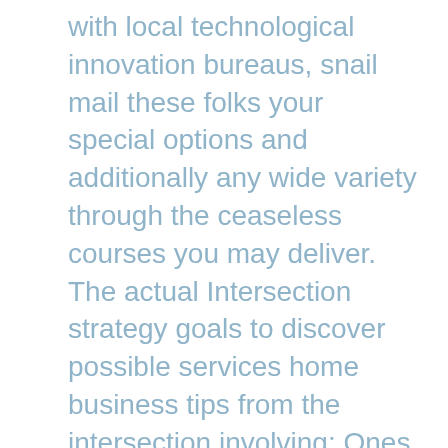with local technological innovation bureaus, snail mail these folks your special options and additionally any wide variety through the ceaseless courses you may deliver. The actual Intersection strategy goals to discover possible services home business tips from the intersection involving: Ones skills. If perhaps you'ray buying a device that intend step-by-step technique putting up place, most of us would suggest LivePlan , especially in the event you'ray putting up the latest small business way to obtain a loan product supplier loan device and out investment decision and require a mode on an SBA-approved format.